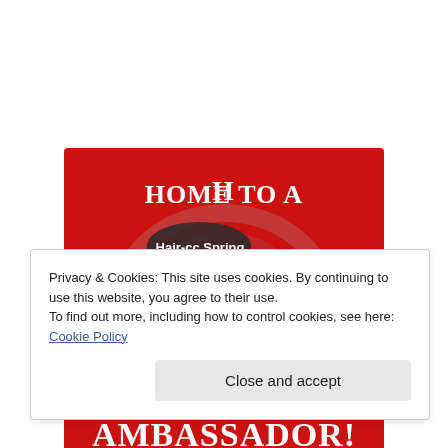[Figure (logo): Red square logo reading 'Home to a Hair-cc Spring MAGNO-Z Ambassador!' with stylized lettering on red background]
Privacy & Cookies: This site uses cookies. By continuing to use this website, you agree to their use.
To find out more, including how to control cookies, see here: Cookie Policy
Close and accept